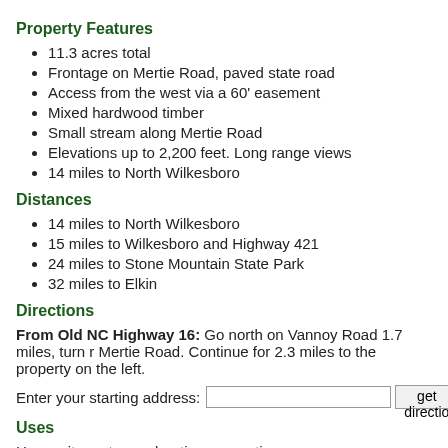Property Features
11.3 acres total
Frontage on Mertie Road, paved state road
Access from the west via a 60' easement
Mixed hardwood timber
Small stream along Mertie Road
Elevations up to 2,200 feet. Long range views
14 miles to North Wilkesboro
Distances
14 miles to North Wilkesboro
15 miles to Wilkesboro and Highway 421
24 miles to Stone Mountain State Park
32 miles to Elkin
Directions
From Old NC Highway 16: Go north on Vannoy Road 1.7 miles, turn r Mertie Road. Continue for 2.3 miles to the property on the left.
Enter your starting address: [input] get directio
Uses
Home site, getaway, hunting, recreation